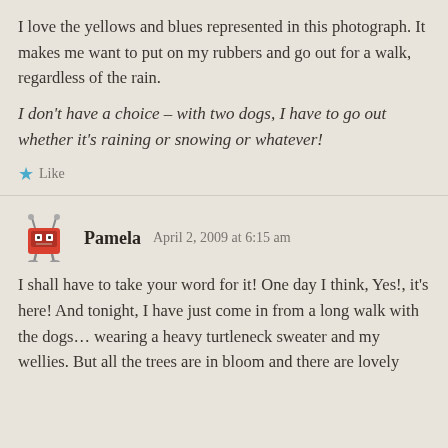I love the yellows and blues represented in this photograph. It makes me want to put on my rubbers and go out for a walk, regardless of the rain.
I don't have a choice – with two dogs, I have to go out whether it's raining or snowing or whatever!
Like
[Figure (illustration): Small avatar icon of Pamela - red robot/monster character]
Pamela   April 2, 2009 at 6:15 am
I shall have to take your word for it! One day I think, Yes!, it's here! And tonight, I have just come in from a long walk with the dogs... wearing a heavy turtleneck sweater and my wellies. But all the trees are in bloom and there are lovely